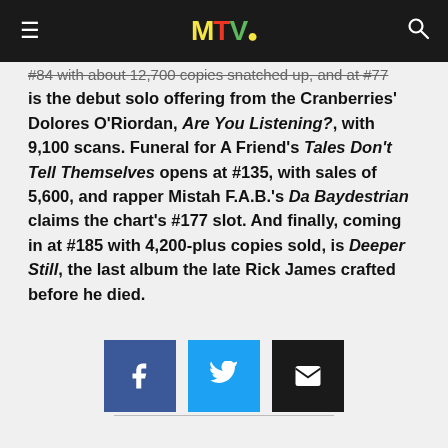MTV
#84 with about 12,700 copies snatched up, and at #77 is the debut solo offering from the Cranberries' Dolores O'Riordan, Are You Listening?, with 9,100 scans. Funeral for A Friend's Tales Don't Tell Themselves opens at #135, with sales of 5,600, and rapper Mistah F.A.B.'s Da Baydestrian claims the chart's #177 slot. And finally, coming in at #185 with 4,200-plus copies sold, is Deeper Still, the last album the late Rick James crafted before he died.
[Figure (other): Social share buttons: Facebook, Twitter, Email]